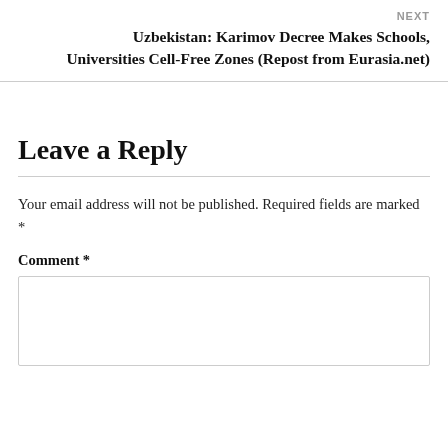NEXT
Uzbekistan: Karimov Decree Makes Schools, Universities Cell-Free Zones (Repost from Eurasia.net)
Leave a Reply
Your email address will not be published. Required fields are marked *
Comment *